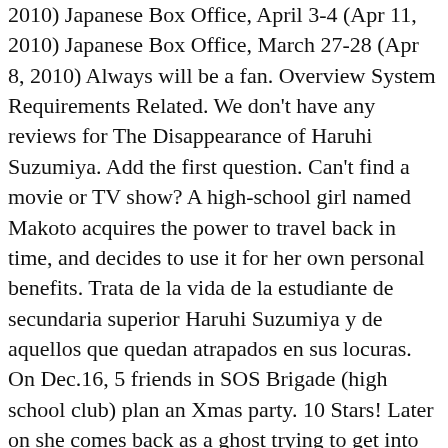2010) Japanese Box Office, April 3-4 (Apr 11, 2010) Japanese Box Office, March 27-28 (Apr 8, 2010) Always will be a fan. Overview System Requirements Related. We don't have any reviews for The Disappearance of Haruhi Suzumiya. Add the first question. Can't find a movie or TV show? A high-school girl named Makoto acquires the power to travel back in time, and decides to use it for her own personal benefits. Trata de la vida de la estudiante de secundaria superior Haruhi Suzumiya y de aquellos que quedan atrapados en sus locuras. On Dec.16, 5 friends in SOS Brigade (high school club) plan an Xmas party. 10 Stars! Later on she comes back as a ghost trying to get into heaven but to do that her friends must grant her a wish. There is not a single thing wrong with that anime. The directors directed Hyouka and Sound Euphonium, so if you liked either of those two you should enjoy this movie. Have you added these movies to your Watchlist? The animation is very good with many scenes being